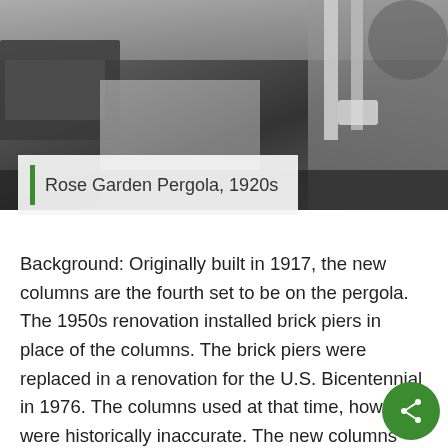[Figure (photo): Black and white photograph of the Rose Garden Pergola from the 1920s, showing garden beds, a path, pergola columns, and outdoor furniture.]
Rose Garden Pergola, 1920s
Background: Originally built in 1917, the new columns are the fourth set to be on the pergola. The 1950s renovation installed brick piers in place of the columns. The brick piers were replaced in a renovation for the U.S. Bicentennial in 1976. The columns used at that time, however, were historically inaccurate. The new columns are an exact restoration of the originals.